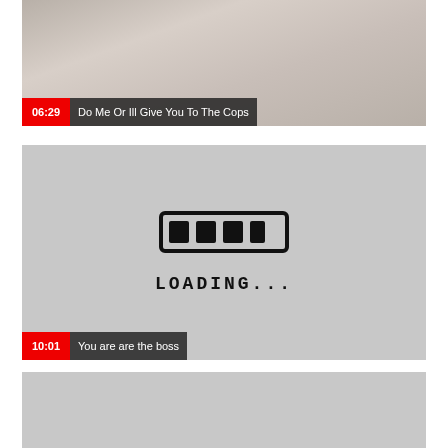[Figure (screenshot): Video thumbnail showing two people, cropped at top]
06:29  Do Me Or Ill Give You To The Cops
[Figure (screenshot): Video thumbnail with loading screen graphic showing progress bar and text LOADING...]
10:01  You are are the boss
[Figure (screenshot): Video thumbnail, gray/loading, partially visible]